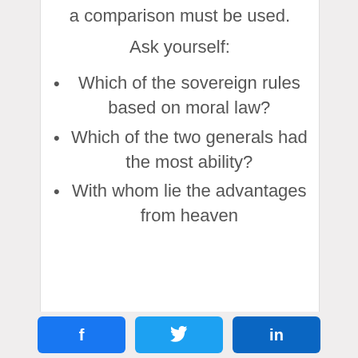a comparison must be used.
Ask yourself:
Which of the sovereign rules based on moral law?
Which of the two generals had the most ability?
With whom lie the advantages from heaven